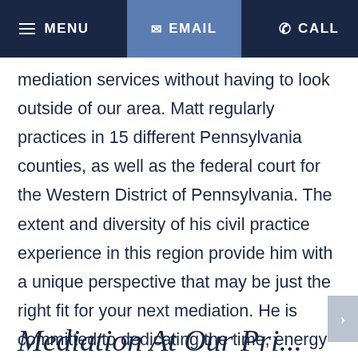≡ MENU   ✉ EMAIL   ✆ CALL
mediation services without having to look outside of our area. Matt regularly practices in 15 different Pennsylvania counties, as well as the federal court for the Western District of Pennsylvania. The extent and diversity of his civil practice experience in this region provide him with a unique perspective that may be just the right fit for your next mediation. He is committed to dedicating the time, energy and effort required to make your mediation successful.
Mediation At Our Pri...